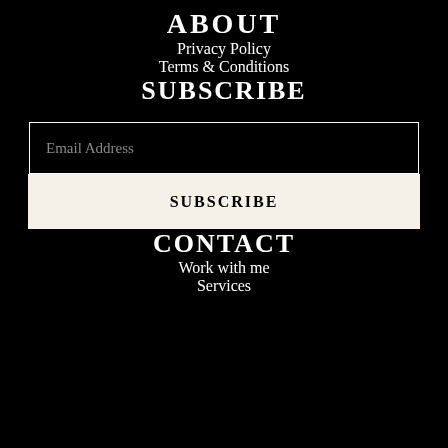ABOUT
Privacy Policy
Terms & Conditions
SUBSCRIBE
Email Address
SUBSCRIBE
CONTACT
Work with me
Services